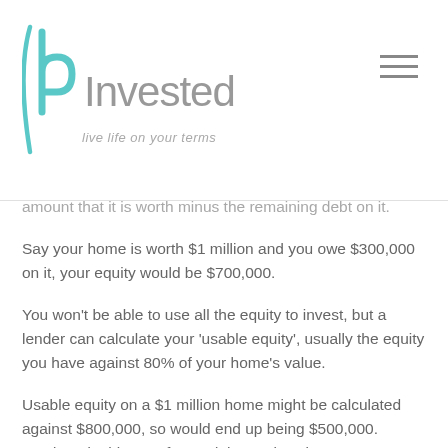bInvested – live life on your terms
amount that it is worth minus the remaining debt on it.
Say your home is worth $1 million and you owe $300,000 on it, your equity would be $700,000.
You won't be able to use all the equity to invest, but a lender can calculate your 'usable equity', usually the equity you have against 80% of your home's value.
Usable equity on a $1 million home might be calculated against $800,000, so would end up being $500,000. Lenders do this to safeguard themselves in case your home drops in value by 20%. In other words, if you defaulted on your mortgage or